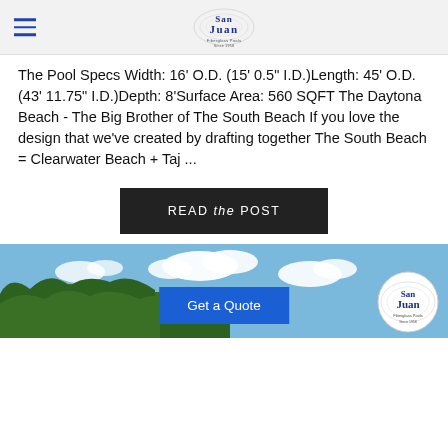San Juan Fiberglass Pools Since 1958
The Pool Specs Width: 16' O.D. (15' 0.5" I.D.)Length: 45' O.D. (43' 11.75" I.D.)Depth: 8'Surface Area: 560 SQFT The Daytona Beach - The Big Brother of The South Beach If you love the design that we've created by drafting together The South Beach = Clearwater Beach + Taj ...
READ the POST
[Figure (photo): Outdoor scene showing trees and blue sky with white clouds, with a Get a Quote button and San Juan logo overlaid.]